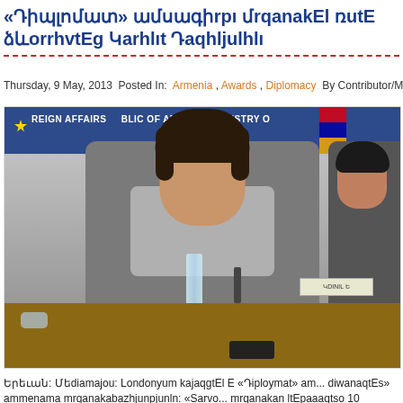«Դիպլոմат» ամսագիրը մրցանակել ռաՐ ձևorrvts Կarhlı Դaqhljulhlı
Thursday, 9 May, 2013 Posted In: Armenia , Awards , Diplomacy By Contributor/Me
[Figure (photo): A woman seated at a conference table in front of EU and Armenian flags and a Ministry of Foreign Affairs of Republic of Armenia banner. There is a water bottle on the table and a nameplate visible.]
Երեւան: Մեդիամաջու: Լոնդոնում կայացել է «Դիպlommat» ամ... դիվանագties» ամmenamja մrganakabazhjunpjunlın: «Surv... մrganakan ltepaaagtso 10 ululululuurqqul: Euroukhu...